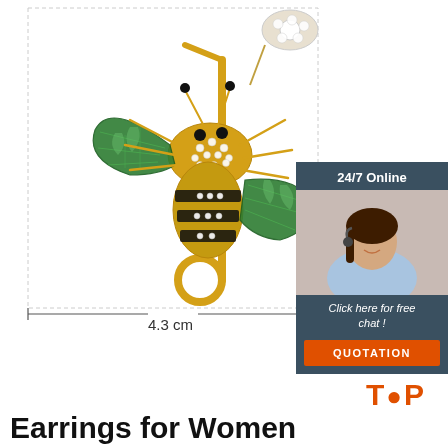[Figure (photo): Decorative bee brooch/pin with green enamel wings, rhinestones on body, mounted on a gold safety pin, with accessories. Shows dimension measurement of 4.3 cm width. Chat widget on right with agent photo, '24/7 Online' header, 'Click here for free chat!' CTA and orange QUOTATION button.]
4.3 cm
Weight : 13g
TOP
Earrings for Women